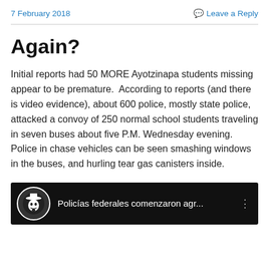7 February 2018   Leave a Reply
Again?
Initial reports had 50 MORE Ayotzinapa students missing appear to be premature.  According to reports (and there is video evidence), about 600 police, mostly state police, attacked a convoy of 250 normal school students traveling in seven buses about five P.M. Wednesday evening. Police in chase vehicles can be seen smashing windows in the buses, and hurling tear gas canisters inside.
[Figure (screenshot): YouTube video embed with black background showing a Guy Fawkes masked avatar and title 'Policías federales comenzaron agr...' with a vertical three-dot menu icon]